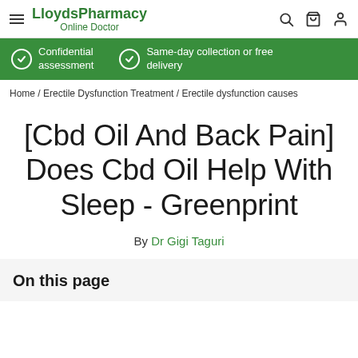LloydsPharmacy Online Doctor
Confidential assessment | Same-day collection or free delivery
Home / Erectile Dysfunction Treatment / Erectile dysfunction causes
[Cbd Oil And Back Pain] Does Cbd Oil Help With Sleep - Greenprint
By Dr Gigi Taguri
On this page